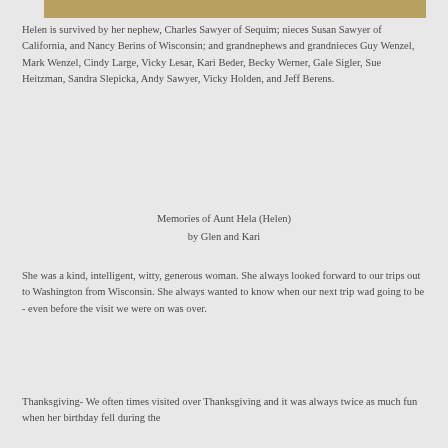[Figure (photo): Partial photo strip visible at top of page]
Helen is survived by her nephew, Charles Sawyer of Sequim; nieces Susan Sawyer of California, and Nancy Berins of Wisconsin; and grandnephews and grandnieces Guy Wenzel, Mark Wenzel, Cindy Large, Vicky Lesar, Kari Beder, Becky Werner, Gale Sigler, Sue Heitzman, Sandra Slepicka, Andy Sawyer, Vicky Holden, and Jeff Berens.
Memories of Aunt Hela (Helen)
by Glen and Kari
She was a kind, intelligent, witty, generous woman. She always looked forward to our trips out to Washington from Wisconsin. She always wanted to know when our next trip wad going to be - even before the visit we were on was over.
Thanksgiving- We often times visited over Thanksgiving and it was always twice as much fun when her birthday fell during the